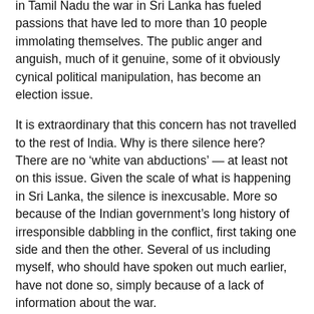in Tamil Nadu the war in Sri Lanka has fueled passions that have led to more than 10 people immolating themselves. The public anger and anguish, much of it genuine, some of it obviously cynical political manipulation, has become an election issue.
It is extraordinary that this concern has not travelled to the rest of India. Why is there silence here? There are no ‘white van abductions’ — at least not on this issue. Given the scale of what is happening in Sri Lanka, the silence is inexcusable. More so because of the Indian government’s long history of irresponsible dabbling in the conflict, first taking one side and then the other. Several of us including myself, who should have spoken out much earlier, have not done so, simply because of a lack of information about the war.
So while the killing continues, while tens of thousands of people are being barricaded into concentration camps, while more than 200,000 face starvation, and a genocide waits to happen, there is dead silence from this great country. It’s a colossal humanitarian tragedy. The world must step in. Now. Before it’s too late.